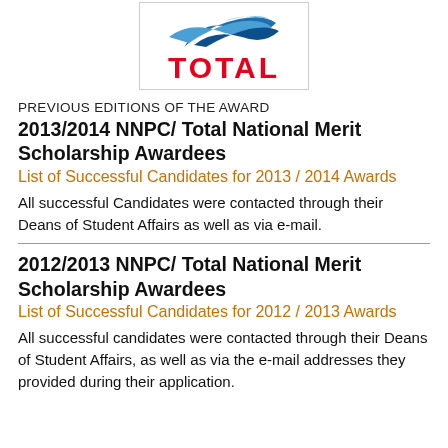[Figure (logo): Total company logo with blue wave and red TOTAL text]
PREVIOUS EDITIONS OF THE AWARD
2013/2014 NNPC/ Total National Merit Scholarship Awardees
List of Successful Candidates for 2013 / 2014 Awards
All successful Candidates were contacted through their Deans of Student Affairs as well as via e-mail.
2012/2013 NNPC/ Total National Merit Scholarship Awardees
List of Successful Candidates for 2012 / 2013 Awards
All successful candidates were contacted through their Deans of Student Affairs, as well as via the e-mail addresses they provided during their application.